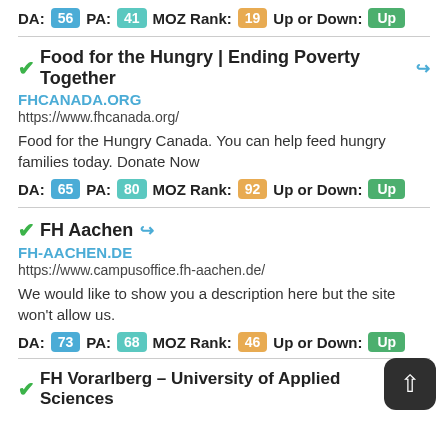DA: 56 PA: 41 MOZ Rank: 19 Up or Down: Up
Food for the Hungry | Ending Poverty Together
FHCANADA.ORG
https://www.fhcanada.org/
Food for the Hungry Canada. You can help feed hungry families today. Donate Now
DA: 65 PA: 80 MOZ Rank: 92 Up or Down: Up
FH Aachen
FH-AACHEN.DE
https://www.campusoffice.fh-aachen.de/
We would like to show you a description here but the site won't allow us.
DA: 73 PA: 68 MOZ Rank: 46 Up or Down: Up
FH Vorarlberg – University of Applied Sciences